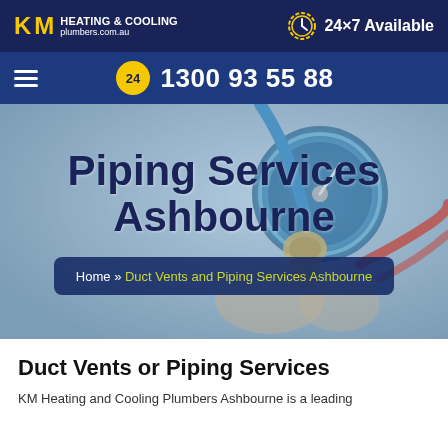KM HEATING & COOLING plumbers.com.au | 24×7 Available
1300 93 55 88
[Figure (photo): Hero image showing HVAC gauge equipment/piping with blue and red hoses, overlaid with dark blue title text]
Piping Services Ashbourne
Home » Duct Vents and Piping Services Ashbourne
Duct Vents or Piping Services
KM Heating and Cooling Plumbers Ashbourne is a leading